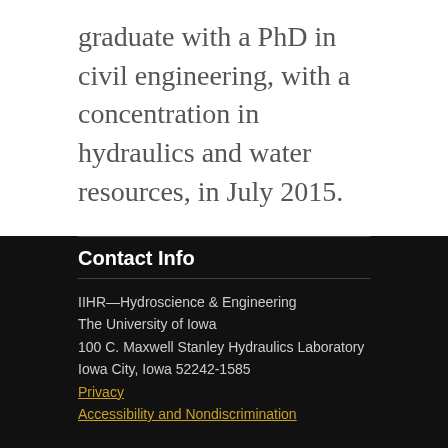graduate with a PhD in civil engineering, with a concentration in hydraulics and water resources, in July 2015.
Contact Info
IIHR—Hydroscience & Engineering
The University of Iowa
100 C. Maxwell Stanley Hydraulics Laboratory
Iowa City, Iowa 52242-1585
Privacy
Accessibility and Nondiscrimination